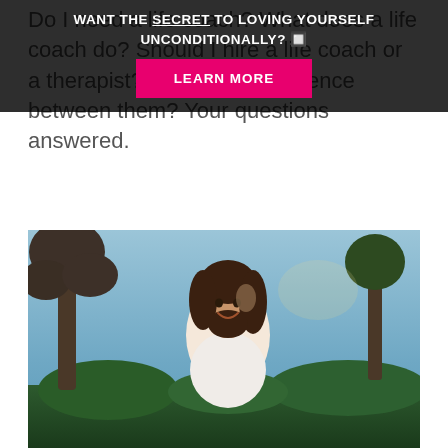Do I need a life coach? What does a life coach do? Should I hire a life coach or a therapist? What's the difference between them? Your questions answered.
[Figure (photo): Smiling young woman with long dark wavy hair, outdoors in sunlight, trees and blue sky in background]
[Figure (infographic): Dark overlay banner with text 'WANT THE SECRET TO LOVING YOURSELF UNCONDITIONALLY?' and a pink/magenta LEARN MORE button]